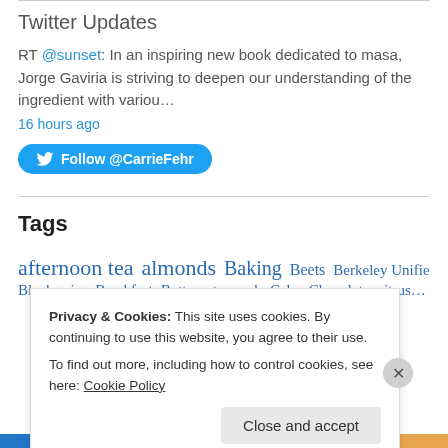Twitter Updates
RT @sunset: In an inspiring new book dedicated to masa, Jorge Gaviria is striving to deepen our understanding of the ingredient with variou…
16 hours ago
[Figure (other): Follow @CarrieFehr Twitter button]
Tags
afternoon tea almonds Baking Beets Berkeley Unified School District Blueberries Breakfast Butternut squash Cake Chocolate citrus…
Privacy & Cookies: This site uses cookies. By continuing to use this website, you agree to their use. To find out more, including how to control cookies, see here: Cookie Policy
Close and accept